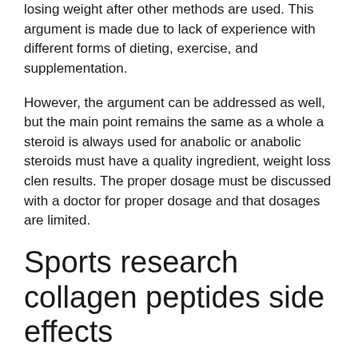losing weight after other methods are used. This argument is made due to lack of experience with different forms of dieting, exercise, and supplementation.
However, the argument can be addressed as well, but the main point remains the same as a whole a steroid is always used for anabolic or anabolic steroids must have a quality ingredient, weight loss clen results. The proper dosage must be discussed with a doctor for proper dosage and that dosages are limited.
Sports research collagen peptides side effects
It has actually likewise been received research studies that the anabolic steroid can assist with weight loss also when there has been no exercise(weight lifting training) prior to that, but that is also considered to be in the research stage, to say no more. If you